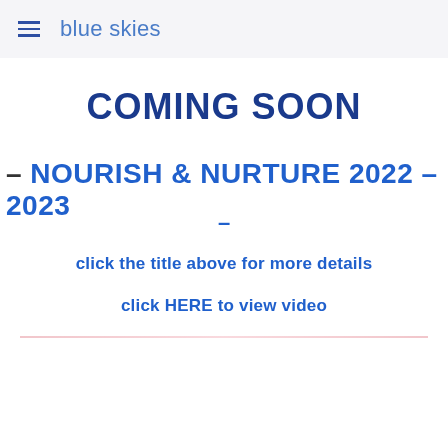blue skies
COMING SOON
– NOURISH & NURTURE 2022 – 2023 –
click the title above for more details
click HERE to view video